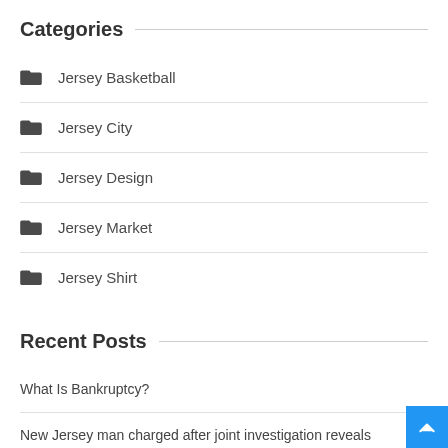Categories
Jersey Basketball
Jersey City
Jersey Design
Jersey Market
Jersey Shirt
Recent Posts
What Is Bankruptcy?
New Jersey man charged after joint investigation reveals interstate mail operation with fentanyl
Sidwell's Jadyn Donovan, one of the nation's top rookies, commits to Duke